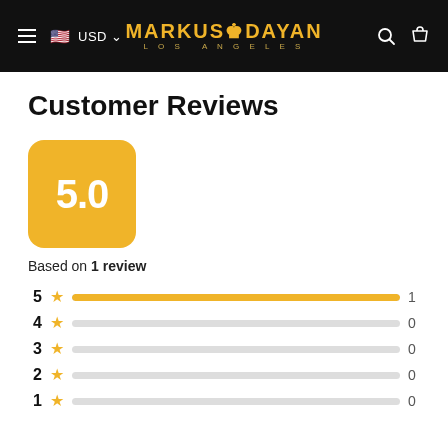Markus Dayan Los Angeles — USD — navigation header
Customer Reviews
[Figure (other): Orange rounded square badge showing rating score 5.0]
Based on 1 review
[Figure (bar-chart): Rating distribution]